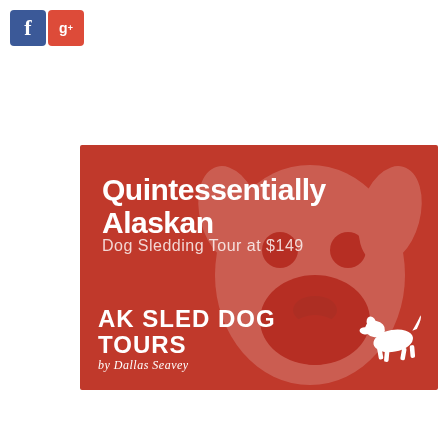[Figure (logo): Facebook and Google+ social media icons in blue and red rounded square buttons]
[Figure (infographic): AK Sled Dog Tours advertisement banner with red background, dog face image, bold white headline 'Quintessentially Alaskan', subheading 'Dog Sledding Tour at $149', and AK Sled Dog Tours by Dallas Seavey logo with white dog silhouette]